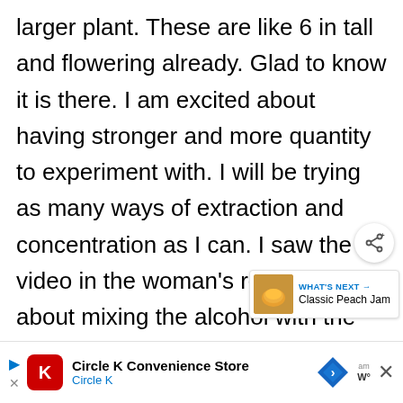larger plant. These are like 6 in tall and flowering already. Glad to know it is there. I am excited about having stronger and more quantity to experiment with. I will be trying as many ways of extraction and concentration as I can. I saw the video in the woman's response about mixing the alcohol with the next heating. Id also like to least a little of the actual bleeding
[Figure (other): Share button icon (circular white button with share symbol)]
[Figure (other): What's Next card showing Classic Peach Jam with thumbnail image]
[Figure (other): Advertisement bar for Circle K Convenience Store with red logo, navigation icon, close button, and weather widget]